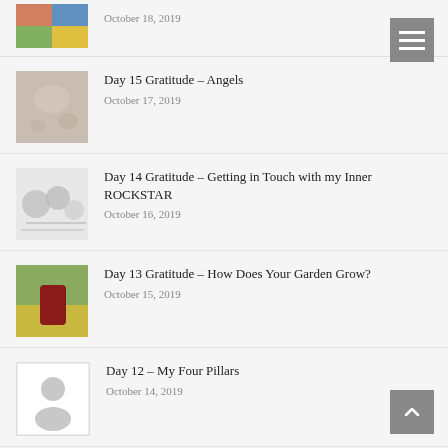[Figure (photo): Partial blog post thumbnail visible at top, colorful image cropped]
October 18, 2019
[Figure (photo): Thumbnail image of angels or fabric texture]
Day 15 Gratitude – Angels
October 17, 2019
[Figure (photo): Black and white sketch/drawing thumbnail]
Day 14 Gratitude – Getting in Touch with my Inner ROCKSTAR
October 16, 2019
[Figure (photo): Photo thumbnail of red shoes in garden]
Day 13 Gratitude – How Does Your Garden Grow?
October 15, 2019
[Figure (photo): Placeholder person icon image]
Day 12 – My Four Pillars
October 14, 2019